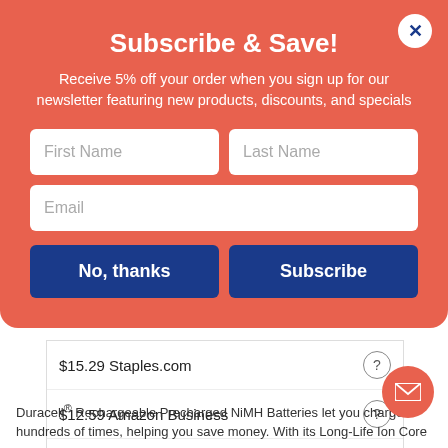Subscribe & Save!
Receive 5% off your order when you sign up for our newsletter featuring new products, discounts, and specials
[Figure (screenshot): Email subscription form with First Name, Last Name, Email fields and No, thanks / Subscribe buttons on a coral/red background]
| Price | Store | Info |
| --- | --- | --- |
| $15.29 | Staples.com | ? |
| $12.59 | Amazon Business | ? |
| $12.59 | Amazon.com | ? |
Duracell® Rechargeable Precharged NiMH Batteries let you charge hundreds of times, helping you save money. With its Long-Life Ion Core